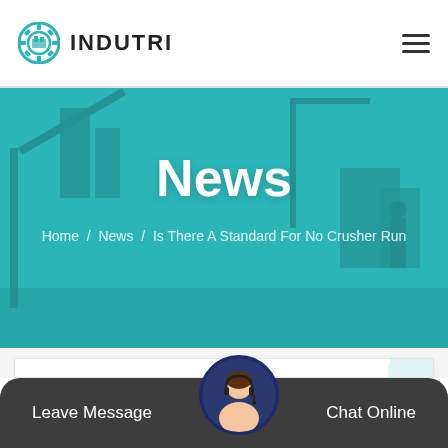INDUTRI
News
Home / News / Is There A Standard For No Crusher Run
Is There A Standard For No Crusher Run
Leave Message | Chat Online